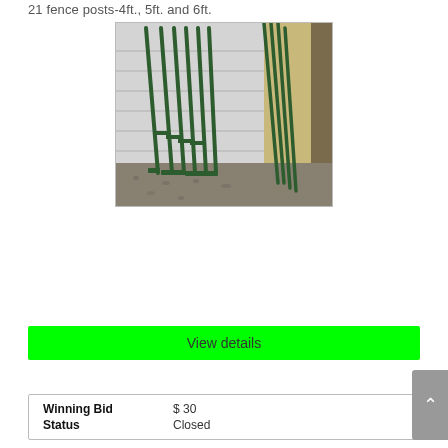21 fence posts-4ft., 5ft. and 6ft.
[Figure (photo): Photo of green metal fence posts (T-posts) leaning against a white garage door, with some taller posts leaning against a tan wall panel to the right. Posts are laid on a gravel/asphalt surface.]
View details
| Winning Bid | $ 30 |
| Status | Closed |